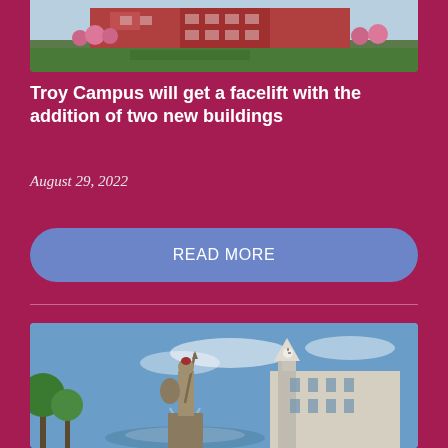[Figure (photo): Campus building with red brick facade and green lawn, flowering trees visible, partially cropped at top]
Troy Campus will get a facelift with the addition of two new buildings
August 29, 2022
READ MORE
[Figure (photo): Trojan warrior statue holding spear and shield in front of a fountain, with a white clock tower building in the background under a blue sky]